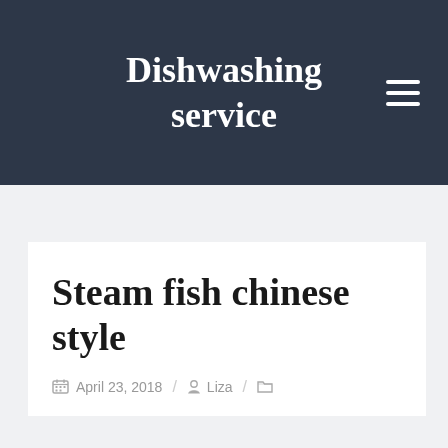Dishwashing service
Steam fish chinese style
April 23, 2018 / Liza /